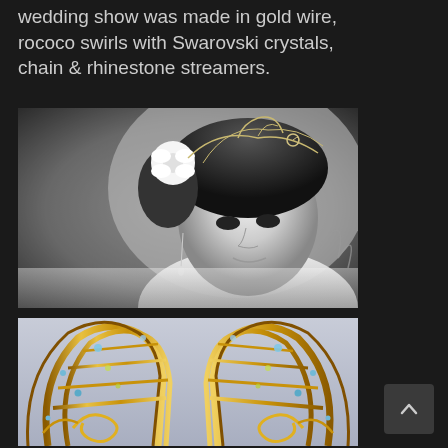wedding show was made in gold wire, rococo swirls with Swarovski crystals, chain & rhinestone streamers.
[Figure (photo): Black and white photograph of a young woman wearing an ornate wire tiara/headpiece with rococo swirls, a white flower in her hair, and dangling chain earrings. She is looking downward.]
[Figure (photo): Color close-up photograph of a gold wire headpiece/tiara with rococo swirl designs and Swarovski crystals, shown against a light grey background.]